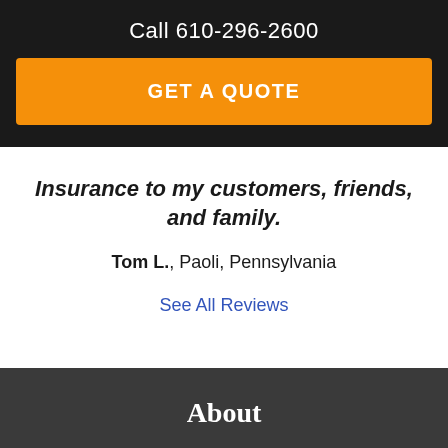Call 610-296-2600
GET A QUOTE
Insurance to my customers, friends, and family.
Tom L., Paoli, Pennsylvania
See All Reviews
About